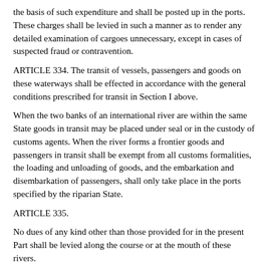the basis of such expenditure and shall be posted up in the ports. These charges shall be levied in such a manner as to render any detailed examination of cargoes unnecessary, except in cases of suspected fraud or contravention.
ARTICLE 334. The transit of vessels, passengers and goods on these waterways shall be effected in accordance with the general conditions prescribed for transit in Section I above.
When the two banks of an international river are within the same State goods in transit may be placed under seal or in the custody of customs agents. When the river forms a frontier goods and passengers in transit shall be exempt from all customs formalities, the loading and unloading of goods, and the embarkation and disembarkation of passengers, shall only take place in the ports specified by the riparian State.
ARTICLE 335.
No dues of any kind other than those provided for in the present Part shall be levied along the course or at the mouth of these rivers.
This provision shall not prevent the fixing by the riparian States of customs, local octroi or consumption duties, or the creation of reasonable and uniform charges levied in the ports, in accordance with public tariffs, for the use of cranes, elevators, quays,